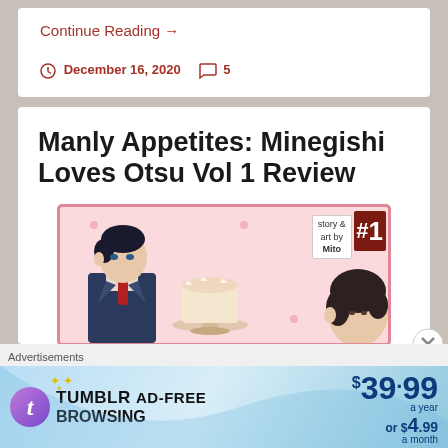Continue Reading →
December 16, 2020   5
Manly Appetites: Minegishi Loves Otsu Vol 1 Review
[Figure (illustration): Manga cover for Manly Appetites: Minegishi Loves Otsu Vol 1, featuring a suited male character on the left, dessert dishes in the center, story & art by Mito label, volume #1 badge in dark red, and a second character partially visible on the right. Pink border with decorative dots.]
Advertisements
[Figure (other): Tumblr Ad-Free Browsing advertisement banner showing Tumblr logo, text 'TUMBLR AD-FREE BROWSING', price $39.99 a year or $4.99 a month, on a blue gradient background.]